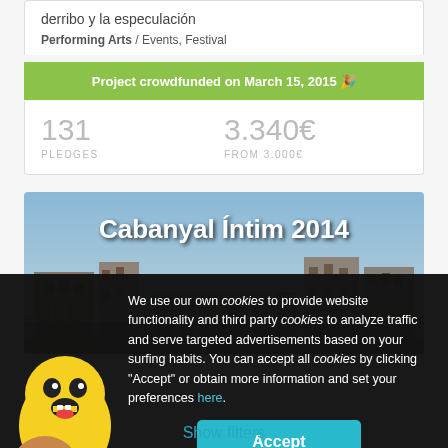derribo y la especulación
Performing Arts / Events, Festival
Project crowdfunded on March 15, 2015 🎉
131 PLEDGES
3.340€ FROM 3.000€
[Figure (photo): Cabanyal Íntim 2014 banner image showing urban buildings against a cloudy sky]
We use our own cookies to provide website functionality and third party cookies to analyze traffic and serve targeted advertisements based on your surfing habits. You can accept all cookies by clicking "Accept" or obtain more information and set your preferences here.
Accept
Show filters